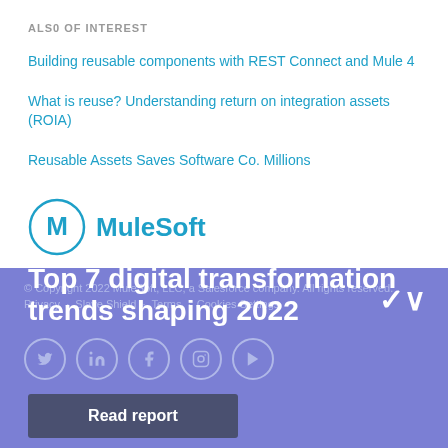ALSO OF INTEREST
Building reusable components with REST Connect and Mule 4
What is reuse? Understanding return on integration assets (ROIA)
Reusable Assets Saves Software Co. Millions
[Figure (logo): MuleSoft logo with circular M icon and MuleSoft text in blue]
© Copyright... Privacy... Cookies Settings
Top 7 digital transformation trends shaping 2022
Read report